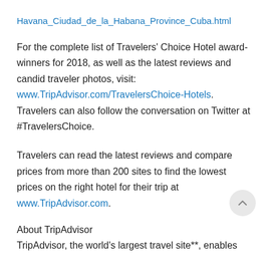Havana_Ciudad_de_la_Habana_Province_Cuba.html
For the complete list of Travelers' Choice Hotel award-winners for 2018, as well as the latest reviews and candid traveler photos, visit: www.TripAdvisor.com/TravelersChoice-Hotels. Travelers can also follow the conversation on Twitter at #TravelersChoice.
Travelers can read the latest reviews and compare prices from more than 200 sites to find the lowest prices on the right hotel for their trip at www.TripAdvisor.com.
About TripAdvisor
TripAdvisor, the world's largest travel site**, enables